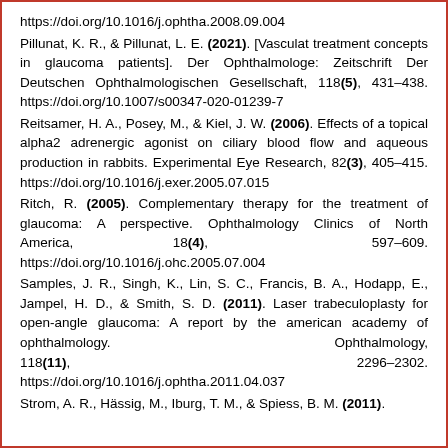https://doi.org/10.1016/j.ophtha.2008.09.004
Pillunat, K. R., & Pillunat, L. E. (2021). [Vasculat treatment concepts in glaucoma patients]. Der Ophthalmologe: Zeitschrift Der Deutschen Ophthalmologischen Gesellschaft, 118(5), 431–438. https://doi.org/10.1007/s00347-020-01239-7
Reitsamer, H. A., Posey, M., & Kiel, J. W. (2006). Effects of a topical alpha2 adrenergic agonist on ciliary blood flow and aqueous production in rabbits. Experimental Eye Research, 82(3), 405–415. https://doi.org/10.1016/j.exer.2005.07.015
Ritch, R. (2005). Complementary therapy for the treatment of glaucoma: A perspective. Ophthalmology Clinics of North America, 18(4), 597–609. https://doi.org/10.1016/j.ohc.2005.07.004
Samples, J. R., Singh, K., Lin, S. C., Francis, B. A., Hodapp, E., Jampel, H. D., & Smith, S. D. (2011). Laser trabeculoplasty for open-angle glaucoma: A report by the american academy of ophthalmology. Ophthalmology, 118(11), 2296–2302. https://doi.org/10.1016/j.ophtha.2011.04.037
Strom, A. R., Hässig, M., Iburg, T. M., & Spiess, B. M. (2011).